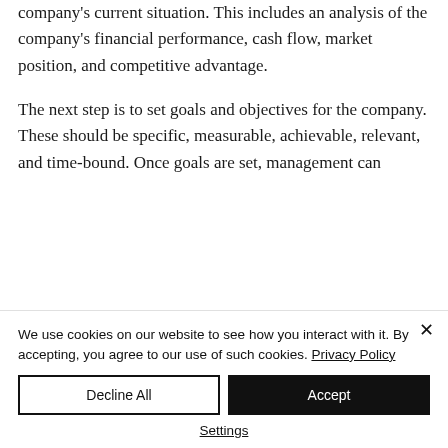company's current situation. This includes an analysis of the company's financial performance, cash flow, market position, and competitive advantage.
The next step is to set goals and objectives for the company. These should be specific, measurable, achievable, relevant, and time-bound. Once goals are set, management can
We use cookies on our website to see how you interact with it. By accepting, you agree to our use of such cookies. Privacy Policy